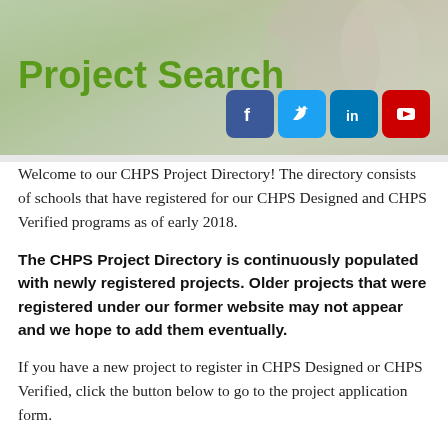[Figure (photo): Header banner photo showing students/children, with a gradient overlay in greens and tans]
Project Search
[Figure (infographic): Social media icons: Facebook (blue), Twitter (light blue), LinkedIn (dark blue), YouTube (red)]
Welcome to our CHPS Project Directory! The directory consists of schools that have registered for our CHPS Designed and CHPS Verified programs as of early 2018.
The CHPS Project Directory is continuously populated with newly registered projects. Older projects that were registered under our former website may not appear and we hope to add them eventually.
If you have a new project to register in CHPS Designed or CHPS Verified, click the button below to go to the project application form.